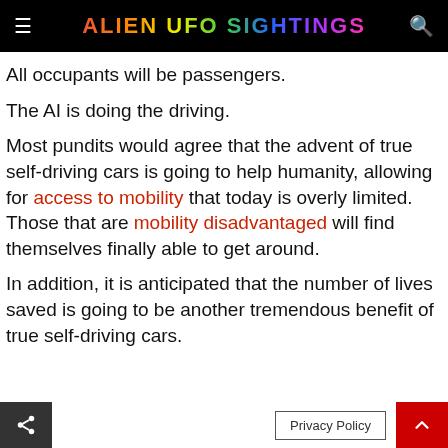ALIEN UFO SIGHTINGS
All occupants will be passengers.
The AI is doing the driving.
Most pundits would agree that the advent of true self-driving cars is going to help humanity, allowing for access to mobility that today is overly limited. Those that are mobility disadvantaged will find themselves finally able to get around.
In addition, it is anticipated that the number of lives saved is going to be another tremendous benefit of true self-driving cars.
Privacy Policy